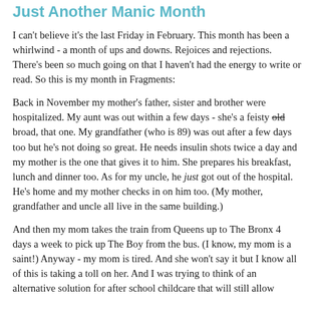Just Another Manic Month
I can't believe it's the last Friday in February.  This month has been a whirlwind - a month of ups and downs.  Rejoices and rejections.  There's been so much going on that I haven't had the energy to write or read.  So this is my month in Fragments:
Back in November my mother's father, sister and brother were hospitalized.  My aunt was out within a few days - she's a feisty old broad, that one.  My grandfather (who is 89) was out after a few days too but he's not doing so great.  He needs insulin shots twice a day and my mother is the one that gives it to him.  She prepares his breakfast, lunch and dinner too.   As for my uncle, he just got out of the hospital. He's home and my mother checks in on him too.  (My mother, grandfather and uncle all live in the same building.)
And then my mom takes the train from Queens up to The Bronx 4 days a week to pick up The Boy from the bus.  (I know, my mom is a saint!)  Anyway - my mom is tired.  And she won't say it but I know all of this is taking a toll on her.  And I was trying to think of an alternative solution for after school childcare that will still allow